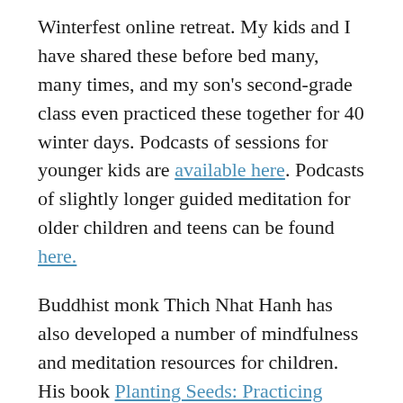Winterfest online retreat. My kids and I have shared these before bed many, many times, and my son's second-grade class even practiced these together for 40 winter days. Podcasts of sessions for younger kids are available here. Podcasts of slightly longer guided meditation for older children and teens can be found here.
Buddhist monk Thich Nhat Hanh has also developed a number of mindfulness and meditation resources for children. His book Planting Seeds: Practicing Mindfulness With Children offers many practices for families and kids. The book's website also includes many links and additional resources. Older kids might like Hanh's Pebble For Your Pocket.
Looking for an introductory yoga book with lots of